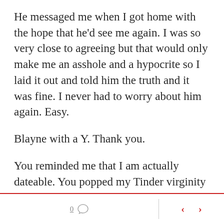He messaged me when I got home with the hope that he'd see me again. I was so very close to agreeing but that would only make me an asshole and a hypocrite so I laid it out and told him the truth and it was fine. I never had to worry about him again. Easy.
Blayne with a Y. Thank you.
You reminded me that I am actually dateable. You popped my Tinder virginity and gave me the confidence to go on more. The confidence to continue my search for that magical thing.
0  < >